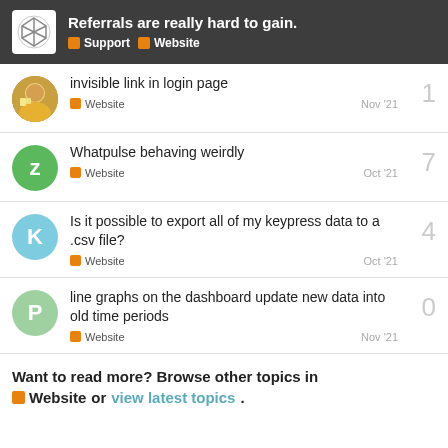Referrals are really hard to gain. | Support | Website
invisible link in login page | Website | Nov '21 | 1 reply
Whatpulse behaving weirdly | Website | Oct '21 | 7 replies
Is it possible to export all of my keypress data to a .csv file? | Website | Oct '21 | 4 replies
line graphs on the dashboard update new data into old time periods | Website | Nov '21 | 0 replies
Want to read more? Browse other topics in Website or view latest topics.